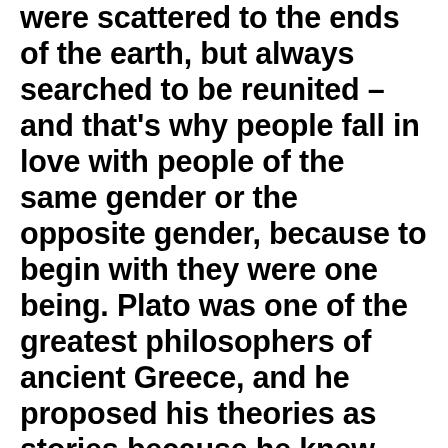were scattered to the ends of the earth, but always searched to be reunited – and that's why people fall in love with people of the same gender or the opposite gender, because to begin with they were one being. Plato was one of the greatest philosophers of ancient Greece, and he proposed his theories as stories because he knew that that was how people would learn them best. One of his most famous texts, Gorgias, is written as a script of a dialogue between Socrates, another philosopher, and Plato's characters Gorgias, Polus, and